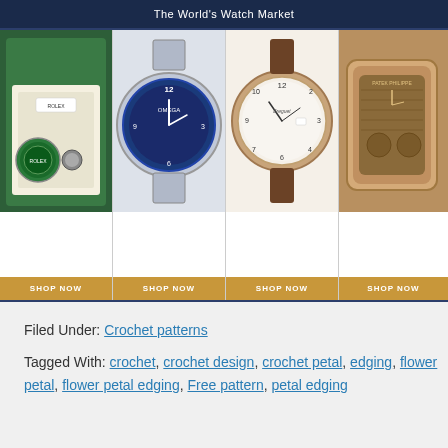The World's Watch Market
[Figure (photo): Four luxury watch product images in a grid: Rolex in green box, Omega Seamaster Planet Ocean, Breguet dress watch, Patek Philippe]
Filed Under: Crochet patterns
Tagged With: crochet, crochet design, crochet petal, edging, flower petal, flower petal edging, Free pattern, petal edging